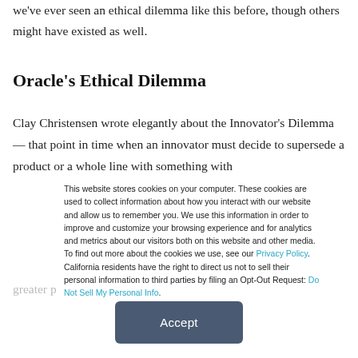we've ever seen an ethical dilemma like this before, though others might have existed as well.
Oracle's Ethical Dilemma
Clay Christensen wrote elegantly about the Innovator's Dilemma — that point in time when an innovator must decide to supersede a product or a whole line with something with greater performance characteristics and a lower cost profile, or
This website stores cookies on your computer. These cookies are used to collect information about how you interact with our website and allow us to remember you. We use this information in order to improve and customize your browsing experience and for analytics and metrics about our visitors both on this website and other media. To find out more about the cookies we use, see our Privacy Policy. California residents have the right to direct us not to sell their personal information to third parties by filing an Opt-Out Request: Do Not Sell My Personal Info.
Accept